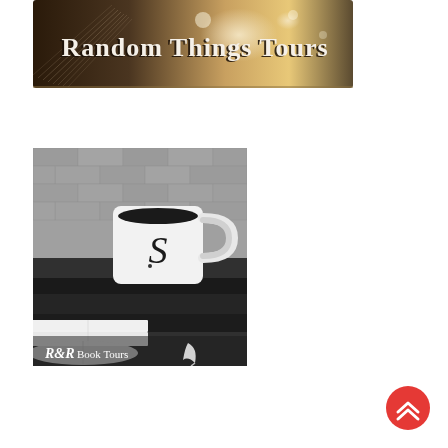[Figure (logo): Random Things Tours banner logo with an open book, bokeh lights background, and stylized text 'Random Things Tours']
[Figure (logo): R&R Book Tours logo - black and white photo of a white mug with letter S sitting on stacked books with an open book, with 'R&R Book Tours' text and quill pen icon in bottom left corner]
[Figure (other): Red circular scroll-to-top button with double chevron/arrow icon pointing upward]